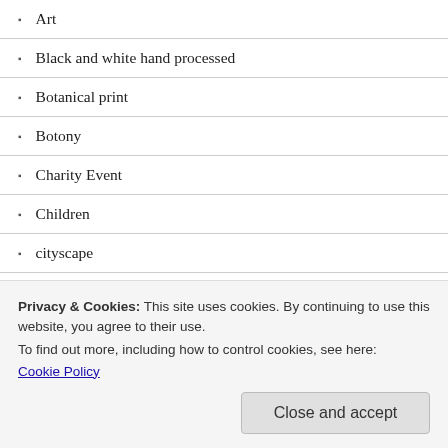Art
Black and white hand processed
Botanical print
Botony
Charity Event
Children
cityscape
Cockatiels
Cold
Dogs
Privacy & Cookies: This site uses cookies. By continuing to use this website, you agree to their use.
To find out more, including how to control cookies, see here: Cookie Policy
Close and accept